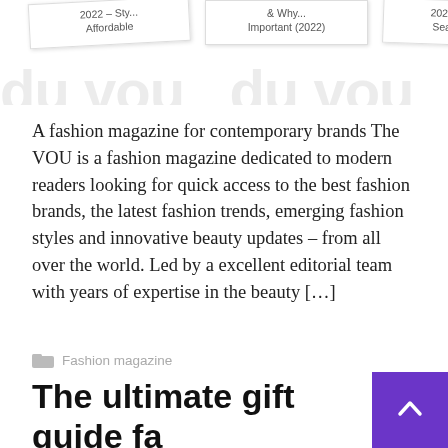[Figure (illustration): Partial view of three overlapping magazine/article card thumbnails showing truncated titles: '2022 — Sty... Affordable', '& Why... Important (2022)', '2021 G... Seaso...' with a large watermark text 'du vou' repeating across the strip]
A fashion magazine for contemporary brands The VOU is a fashion magazine dedicated to modern readers looking for quick access to the best fashion brands, the latest fashion trends, emerging fashion styles and innovative beauty updates – from all over the world. Led by a excellent editorial team with years of expertise in the beauty […]
Fashion magazine
Read More
The ultimate gift guide fa wellness and...